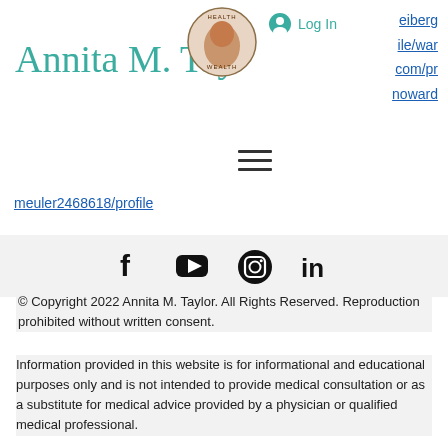[Figure (logo): Annita M. Taylor NP script logo in teal cursive]
[Figure (logo): Health Wealth website logo with woman portrait in circular badge]
Log In
eiberg
ile/war
com/pr
noward
[Figure (other): Hamburger menu icon (three horizontal lines)]
meuler2468618/profile
[Figure (other): Social media icons: Facebook, YouTube, Instagram, LinkedIn]
© Copyright 2022 Annita M. Taylor. All Rights Reserved. Reproduction prohibited without written consent.
Information provided in this website is for informational and educational purposes only and is not intended to provide medical consultation or as a substitute for medical advice provided by a physician or qualified medical professional.